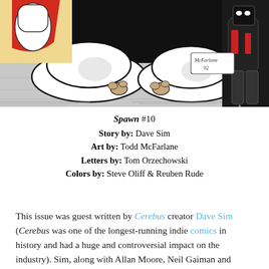[Figure (illustration): Comic book artwork showing characters from Spawn #10, black and white with some color. Shows large rounded cartoon-like feet/shoes in foreground with a character holding chains in the background. Signed McFarlane 92.]
Spawn #10
Story by: Dave Sim
Art by: Todd McFarlane
Letters by: Tom Orzechowski
Colors by: Steve Oliff & Reuben Rude
This issue was guest written by Cerebus creator Dave Sim (Cerebus was one of the longest-running indie comics in history and had a huge and controversial impact on the industry). Sim, along with Allan Moore, Neil Gaiman and